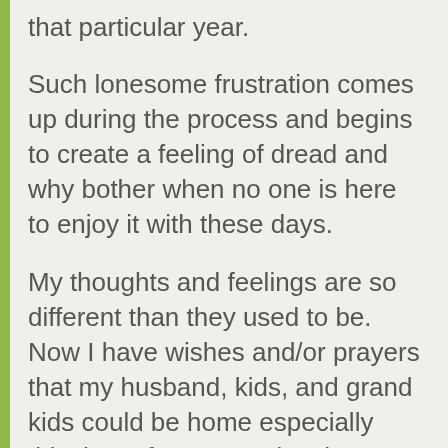that particular year.
Such lonesome frustration comes up during the process and begins to create a feeling of dread and why bother when no one is here to enjoy it with these days.
My thoughts and feelings are so different than they used to be. Now I have wishes and/or prayers that my husband, kids, and grand kids could be home especially this time of year to enjoy the process with, that I almost decide to not even decorate at all. As if the part of digging all of